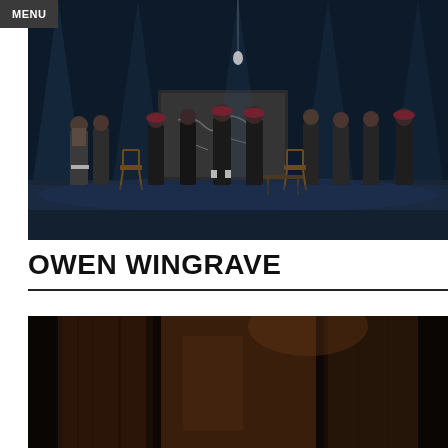MENU
[Figure (photo): Theatre stage scene showing actors in military uniforms and dark suits standing in a line, with a chalkboard in the background and dramatic blue lighting from above.]
OWEN WINGRAVE
[Figure (photo): Dark interior scene with wooden elements, partially visible, deep shadows and warm brown tones.]